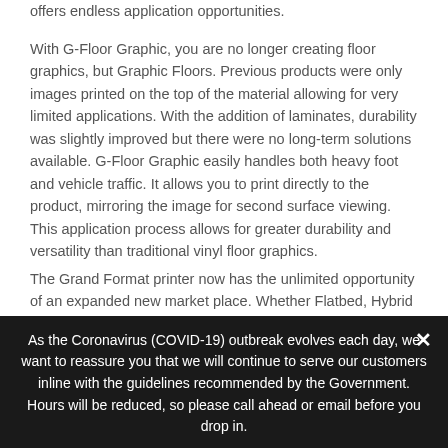offers endless application opportunities.
With G-Floor Graphic, you are no longer creating floor graphics, but Graphic Floors. Previous products were only images printed on the top of the material allowing for very limited applications. With the addition of laminates, durability was slightly improved but there were no long-term solutions available. G-Floor Graphic easily handles both heavy foot and vehicle traffic. It allows you to print directly to the product, mirroring the image for second surface viewing.  This application process allows for greater durability and versatility than traditional vinyl floor graphics.
The Grand Format printer now has the unlimited opportunity of an expanded new market place. Whether Flatbed, Hybrid or Roll to Roll, G-Floor Graphic now gives the printer an exclusive media with unlimited marketing potential.  Realize your market
As the Coronavirus (COVID-19) outbreak evolves each day, we want to reassure you that we will continue to serve our customers inline with the guidelines recommended by the Government.
Hours will be reduced, so please call ahead or email before you drop in.